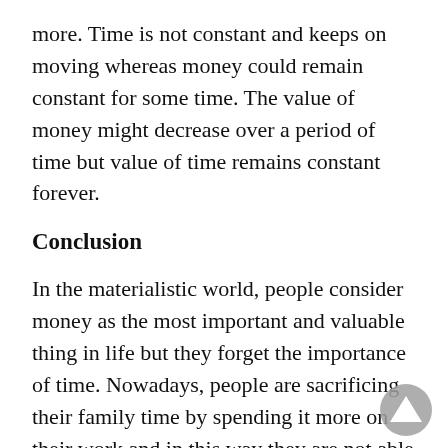more. Time is not constant and keeps on moving whereas money could remain constant for some time. The value of money might decrease over a period of time but value of time remains constant forever.
Conclusion
In the materialistic world, people consider money as the most important and valuable thing in life but they forget the importance of time. Nowadays, people are sacrificing their family time by spending it more on their work and in this way they are not able to spend quality time with their family. It is also said that people spend time in earning money but finally don't get time to spend that money. Proper time management always makes a person